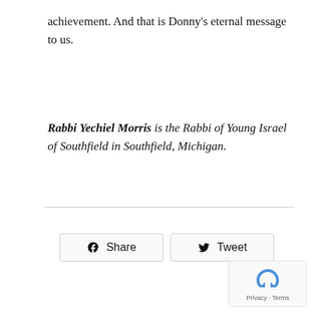achievement. And that is Donny's eternal message to us.
Rabbi Yechiel Morris is the Rabbi of Young Israel of Southfield in Southfield, Michigan.
[Figure (other): Social share buttons: Facebook Share and Twitter Tweet]
[Figure (other): reCAPTCHA widget with Privacy and Terms text]